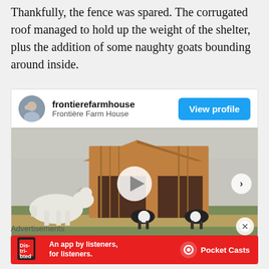Thankfully, the fence was spared. The corrugated roof managed to hold up the weight of the shelter, plus the addition of some naughty goats bounding around inside.
[Figure (screenshot): Instagram-style post card from frontierefarmhouse (Frontière Farm House) with a View profile button, containing a photo/video of goats around a wooden shelter structure with a play button overlay and a next arrow.]
Advertisements
[Figure (photo): Pocket Casts advertisement banner: red background with text 'An app by listeners, for listeners.' and Pocket Casts logo on the right.]